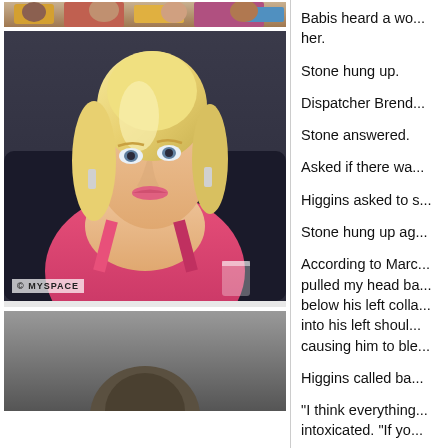[Figure (photo): Top portion of a photo showing people with colorful background, cropped at top]
[Figure (photo): Photo of a blonde woman in a pink top, watermarked MYSPACE]
[Figure (photo): Bottom photo, partially visible, dark tones]
Babis heard a wo... her.
Stone hung up.
Dispatcher Brend...
Stone answered.
Asked if there wa...
Higgins asked to s...
Stone hung up ag...
According to Marc... pulled my head ba... below his left colla... into his left shoul... causing him to ble...
Higgins called ba...
"I think everything... intoxicated. "If yo...
When the first po...